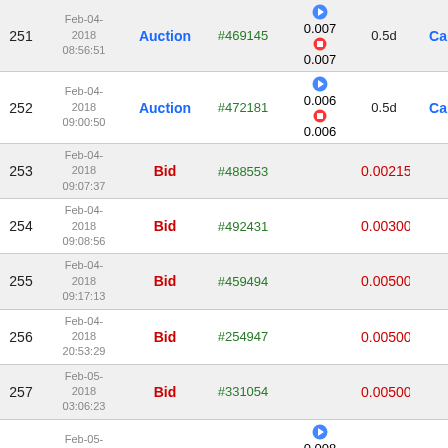| # | Date | Type | ID | Price | Duration | Extra |
| --- | --- | --- | --- | --- | --- | --- |
| 251 | Feb-04-2018 08:56:51 | Auction | #469145 | 0.007 / 0.007 | 0.5d | Ca |
| 252 | Feb-04-2018 09:00:50 | Auction | #472181 | 0.006 / 0.006 | 0.5d | Ca |
| 253 | Feb-04-2018 09:07:37 | Bid | #488553 |  | 0.00215 |  |
| 254 | Feb-04-2018 09:08:56 | Bid | #492431 |  | 0.00300 |  |
| 255 | Feb-04-2018 09:17:13 | Bid | #459494 |  | 0.00500 |  |
| 256 | Feb-04-2018 20:53:29 | Bid | #254947 |  | 0.00500 |  |
| 257 | Feb-05-2018 03:06:23 | Bid | #331054 |  | 0.00500 |  |
| 258 | Feb-05-2018 03:17:51 | Auction | #462367 | 0.008 / 0.008 | 0.5d | Ca |
| 259 | Feb-05-... | Auction |  | 0.01 |  |  |